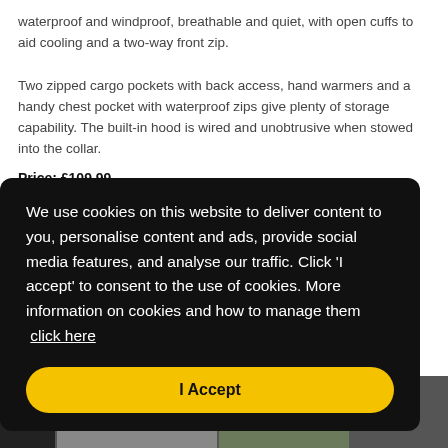waterproof and windproof, breathable and quiet, with open cuffs to aid cooling and a two-way front zip.
Two zipped cargo pockets with back access, hand warmers and a handy chest pocket with waterproof zips give plenty of storage capability. The built-in hood is wired and unobtrusive when stowed into the collar.
Price: £109.99
We use cookies on this website to deliver content to you, personalise content and ads, provide social media features, and analyse our traffic. Click 'I accept' to consent to the use of cookies. More information on cookies and how to manage them  click here
[Figure (screenshot): Yellow 'I Accept' button on dark cookie consent overlay, with partial product images visible at bottom]